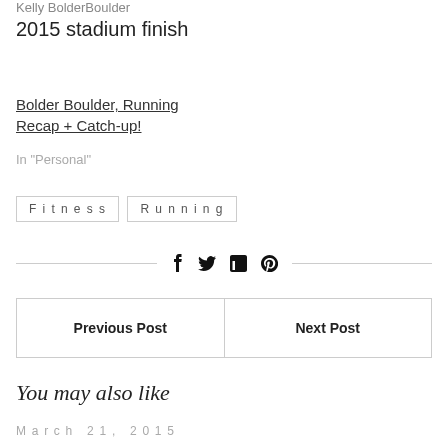Kelly BolderBoulder
2015 stadium finish
Bolder Boulder, Running Recap + Catch-up!
In "Personal"
Fitness   Running
f  in
Previous Post   Next Post
You may also like
March 21, 2015